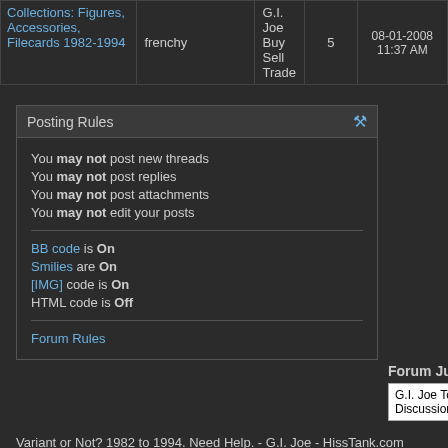| Thread | Author | Forum | Replies | Last Post |
| --- | --- | --- | --- | --- |
| Collections: Figures, Accessories, Filecards 1982-1994 | frenchy | G.I. Joe Buy Sell Trade | 5 | 08-01-2008 11:37 AM |
Posting Rules
You may not post new threads
You may not post replies
You may not post attachments
You may not edit your posts
BB code is On
Smilies are On
[IMG] code is On
HTML code is Off
Forum Rules
Forum Jump
G.I. Joe Toys Vintage Discussion
Variant or Not? 1982 to 1994. Need Help. - G.I. Joe - HissTank.com
SPONSORS
[Figure (logo): BigBadToyStore logo]
[Figure (photo): Sponsor image with colorful figure]